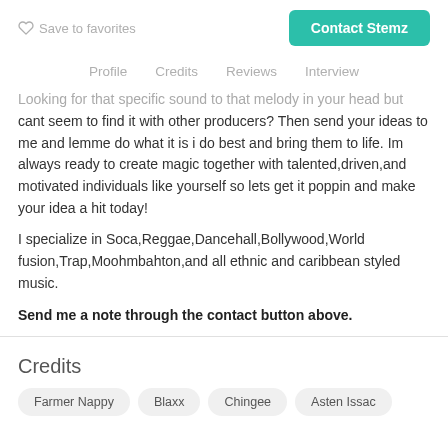Save to favorites | Contact Stemz
Profile  Credits  Reviews  Interview
Looking for that specific sound to that melody in your head but cant seem to find it with other producers? Then send your ideas to me and lemme do what it is i do best and bring them to life. Im always ready to create magic together with talented,driven,and motivated individuals like yourself so lets get it poppin and make your idea a hit today!
I specialize in Soca,Reggae,Dancehall,Bollywood,World fusion,Trap,Moohmbahton,and all ethnic and caribbean styled music.
Send me a note through the contact button above.
Credits
Farmer Nappy
Blaxx
Chingee
Asten Issac